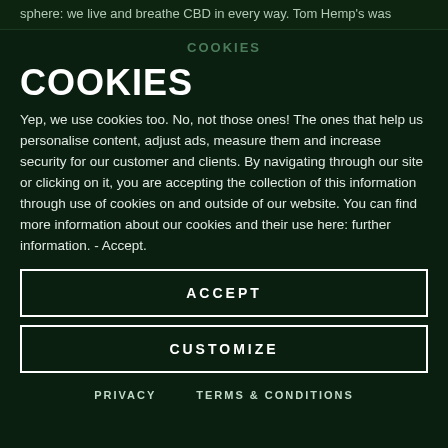sphere: we live and breathe CBD in every way. Tom Hemp's was
COOKIES
COOKIES
Yep, we use cookies too. No, not those ones! The ones that help us personalise content, adjust ads, measure them and increase security for our customer and clients. By navigating through our site or clicking on it, you are accepting the collection of this information through use of cookies on and outside of our website. You can find more information about our cookies and their use here: further information. - Accept.
ACCEPT
CUSTOMIZE
PRIVACY
TERMS & CONDITIONS